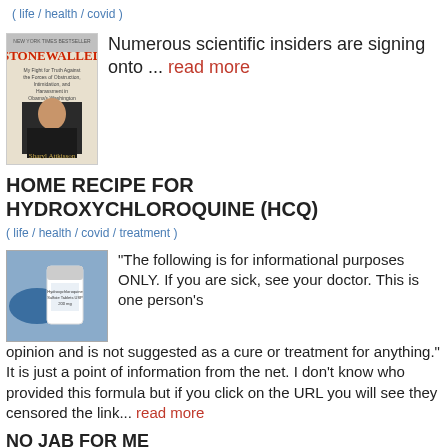( life / health / covid )
[Figure (photo): Book cover: STONEWALLED by Sharyl Attkisson]
Numerous scientific insiders are signing onto ... read more
HOME RECIPE FOR HYDROXYCHLOROQUINE (HCQ)
( life / health / covid / treatment )
[Figure (photo): Photo of a bottle of hydroxychloroquine tablets with blue gloved hand]
"The following is for informational purposes ONLY. If you are sick, see your doctor. This is one person's opinion and is not suggested as a cure or treatment for anything." It is just a point of information from the net. I don't know who provided this formula but if you click on the URL you will see they censored the link... read more
NO JAB FOR ME